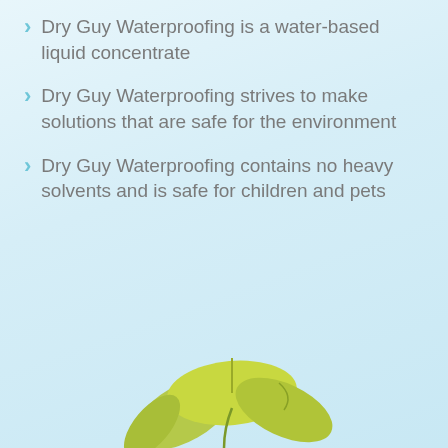Dry Guy Waterproofing is a water-based liquid concentrate
Dry Guy Waterproofing strives to make solutions that are safe for the environment
Dry Guy Waterproofing contains no heavy solvents and is safe for children and pets
[Figure (illustration): Green plant seedling with leaves at bottom of page]